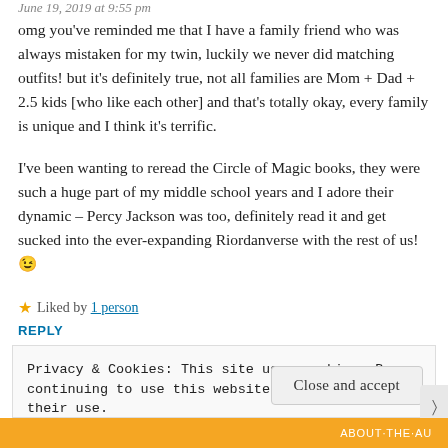June 19, 2019 at 9:55 pm
omg you've reminded me that I have a family friend who was always mistaken for my twin, luckily we never did matching outfits! but it's definitely true, not all families are Mom + Dad + 2.5 kids [who like each other] and that's totally okay, every family is unique and I think it's terrific.
I've been wanting to reread the Circle of Magic books, they were such a huge part of my middle school years and I adore their dynamic – Percy Jackson was too, definitely read it and get sucked into the ever-expanding Riordanverse with the rest of us! 😉
★ Liked by 1 person
REPLY
Privacy & Cookies: This site uses cookies. By continuing to use this website, you agree to their use.
To find out more, including how to control cookies, see here: Cookie Policy